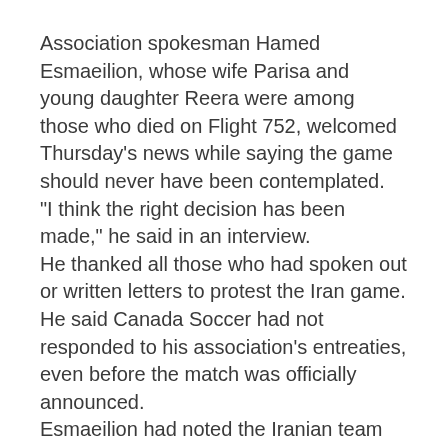Association spokesman Hamed Esmaeilion, whose wife Parisa and young daughter Reera were among those who died on Flight 752, welcomed Thursday's news while saying the game should never have been contemplated.
“I think the right decision has been made,” he said in an interview.
He thanked all those who had spoken out or written letters to protest the Iran game. He said Canada Soccer had not responded to his association’s entreaties, even before the match was officially announced.
Esmaeilion had noted the Iranian team would be accompanied abroad by intelligence and Islamic Revolutionary Guard Corps (IRGC)…